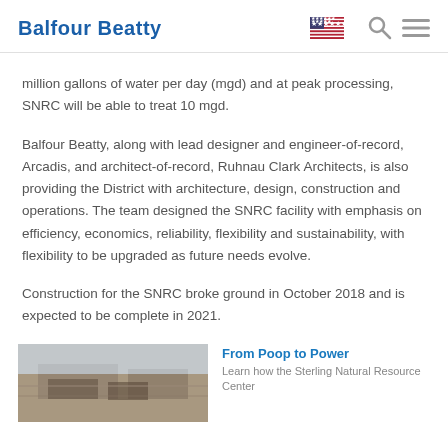Balfour Beatty
million gallons of water per day (mgd) and at peak processing, SNRC will be able to treat 10 mgd.
Balfour Beatty, along with lead designer and engineer-of-record, Arcadis, and architect-of-record, Ruhnau Clark Architects, is also providing the District with architecture, design, construction and operations. The team designed the SNRC facility with emphasis on efficiency, economics, reliability, flexibility and sustainability, with flexibility to be upgraded as future needs evolve.
Construction for the SNRC broke ground in October 2018 and is expected to be complete in 2021.
[Figure (photo): Aerial photograph of the SNRC construction site]
From Poop to Power
Learn how the Sterling Natural Resource Center